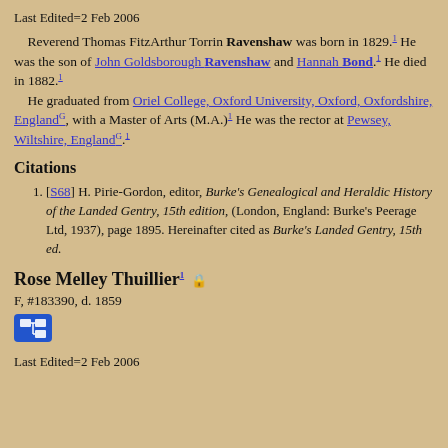Last Edited=2 Feb 2006
Reverend Thomas FitzArthur Torrin Ravenshaw was born in 1829.1 He was the son of John Goldsborough Ravenshaw and Hannah Bond.1 He died in 1882.1 He graduated from Oriel College, Oxford University, Oxford, Oxfordshire, EnglandG, with a Master of Arts (M.A.)1 He was the rector at Pewsey, Wiltshire, EnglandG.1
Citations
[S68] H. Pirie-Gordon, editor, Burke's Genealogical and Heraldic History of the Landed Gentry, 15th edition, (London, England: Burke's Peerage Ltd, 1937), page 1895. Hereinafter cited as Burke's Landed Gentry, 15th ed.
Rose Melley Thuillier1
F, #183390, d. 1859
Last Edited=2 Feb 2006